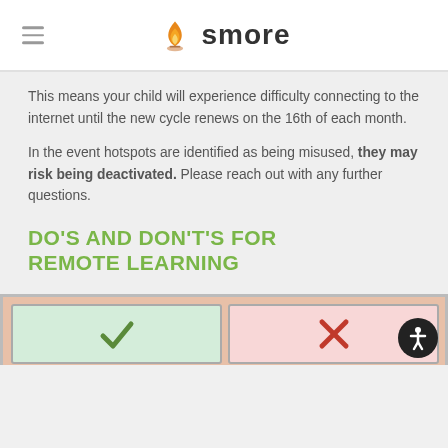smore
This means your child will experience difficulty connecting to the internet until the new cycle renews on the 16th of each month.
In the event hotspots are identified as being misused, they may risk being deactivated. Please reach out with any further questions.
DO'S AND DON'TS FOR REMOTE LEARNING
[Figure (infographic): Bottom portion of a do's and don'ts infographic for remote learning with a salmon/peach colored background, partially visible.]